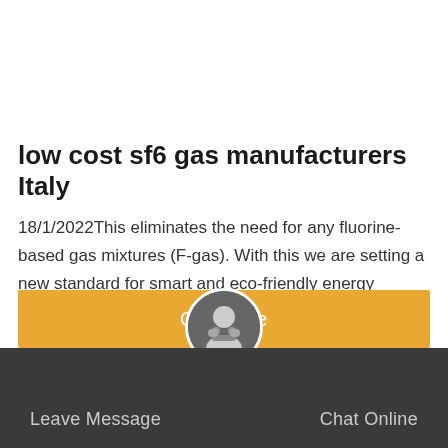low cost sf6 gas manufacturers Italy
18/1/2022This eliminates the need for any fluorine-based gas mixtures (F-gas). With this we are setting a new standard for smart and eco-friendly energy distribution. The innovative substation, which will connect the medium-voltage distribution grid and the low-voltage local grid in the town of Kreuzthal in the Oberallg u region, is now being tested under real-life conditions.
Get Price
Leave Message   Chat Online